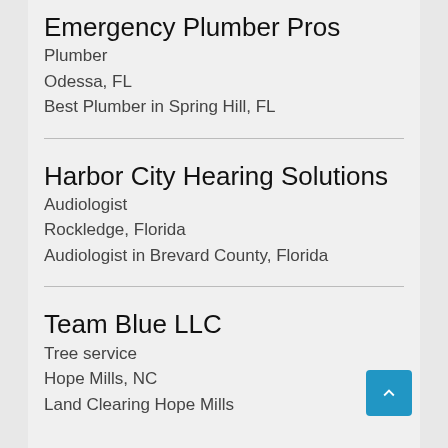Emergency Plumber Pros
Plumber
Odessa, FL
Best Plumber in Spring Hill, FL
Harbor City Hearing Solutions
Audiologist
Rockledge, Florida
Audiologist in Brevard County, Florida
Team Blue LLC
Tree service
Hope Mills, NC
Land Clearing Hope Mills